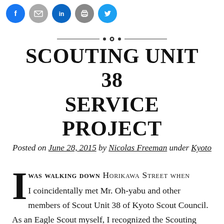[Figure (illustration): Social media sharing icons: Facebook (blue circle), Email (gray circle), LinkedIn (blue circle), Print (gray circle), Twitter (blue circle)]
[Figure (illustration): Decorative horizontal divider with ornamental flourish in the center]
SCOUTING UNIT 38 SERVICE PROJECT
Posted on June 28, 2015 by Nicolas Freeman under Kyoto
I was walking down Horikawa Street when I coincidentally met Mr. Oh-yabu and other members of Scout Unit 38 of Kyoto Scout Council. As an Eagle Scout myself, I recognized the Scouting uniforms that they were wearing, so I decided to stop